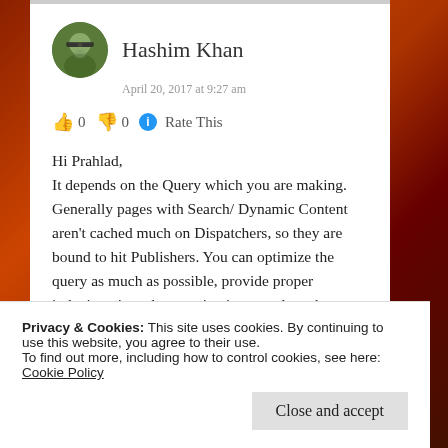[Figure (photo): Circular avatar photo of Hashim Khan wearing sunglasses]
Hashim Khan
April 20, 2017 at 9:27 am
👍 0 👎 0 ℹ Rate This
Hi Prahlad,
It depends on the Query which you are making. Generally pages with Search/ Dynamic Content aren't cached much on Dispatchers, so they are bound to hit Publishers. You can optimize the query as much as possible, provide proper indexing , introduce pagination to reduce the impact.
Privacy & Cookies: This site uses cookies. By continuing to use this website, you agree to their use.
To find out more, including how to control cookies, see here: Cookie Policy
Close and accept